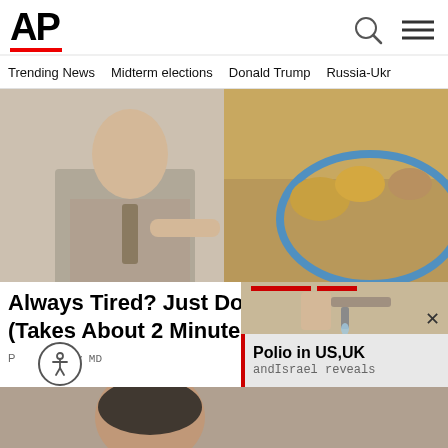AP
Trending News   Midterm elections   Donald Trump   Russia-Ukr
[Figure (photo): Split hero image: left side shows a man in a suit pointing at food items; right side shows small animals in a sandy enclosure]
Always Tired? Just Do THIS O (Takes About 2 Minutes)
P... Gundry MD
[Figure (photo): Popup overlay showing hands with a dropper/syringe, with red bar and text 'Polio in US,UK andIsrael reveals']
[Figure (photo): Bottom photo showing a man's face]